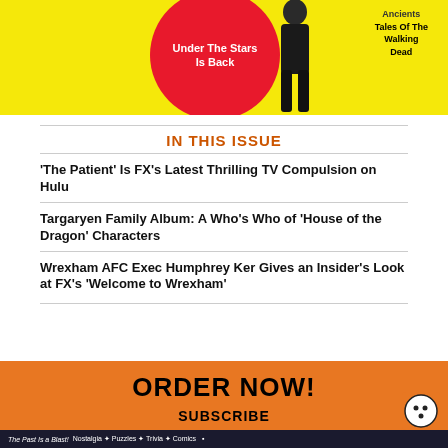[Figure (photo): Magazine cover image with yellow background, red circle with text 'Under The Stars Is Back', silhouette of a person, and top-right text about Ancients and Tales Of The Walking Dead]
IN THIS ISSUE
'The Patient' Is FX's Latest Thrilling TV Compulsion on Hulu
Targaryen Family Album: A Who's Who of 'House of the Dragon' Characters
Wrexham AFC Exec Humphrey Ker Gives an Insider's Look at FX's 'Welcome to Wrexham'
ORDER NOW!
SUBSCRIBE
The Past Is a Blast! Nostalgia * Puzzles * Trivia * Comics